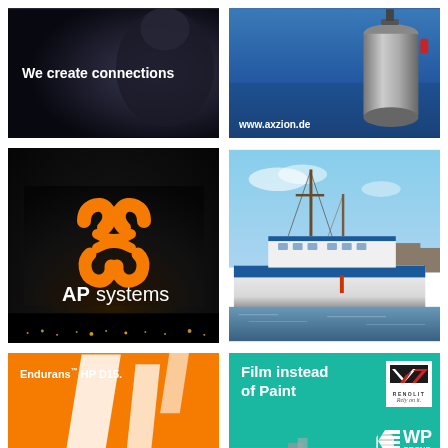[Figure (photo): Dark background photo with text 'We create connections' in white bold font, appears to be a person in dark clothing]
[Figure (photo): Photo of industrial cylindrical tank/buoy near water with URL www.axzion.de]
[Figure (logo): APsystems logo on dark background with orange circular logo and text 'APsystems ALTENERGY POWER']
[Figure (photo): Harbor scene with large white passenger/ferry boat and sailing masts, blue sky and water]
[Figure (photo): Endurans HP D15 advertisement on orange background with diagonal white geometric shapes and endurans solar logo]
[Figure (infographic): Teal/turquoise advertisement: 'Film instead of Paint' with Renolit logo, 'Rely on it.' tagline, WP GROUP logo, and aerial photo of industrial/wind turbine installation]